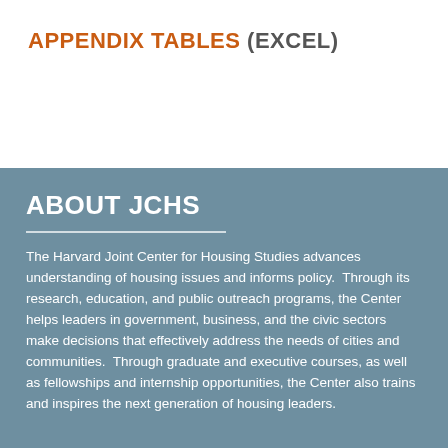APPENDIX TABLES (EXCEL)
ABOUT JCHS
The Harvard Joint Center for Housing Studies advances understanding of housing issues and informs policy. Through its research, education, and public outreach programs, the Center helps leaders in government, business, and the civic sectors make decisions that effectively address the needs of cities and communities. Through graduate and executive courses, as well as fellowships and internship opportunities, the Center also trains and inspires the next generation of housing leaders.